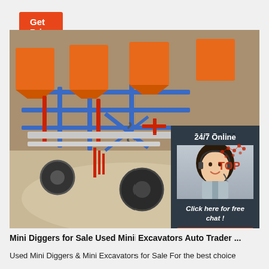Get Price
[Figure (photo): Agricultural seeding/planting machinery with blue metal frame, red components, orange hoppers, and rubber wheels operating in soil field. Overlay chat widget with '24/7 Online' text, female customer service representative wearing headset, 'Click here for free chat!' text, orange QUOTATION button, and TOP logo in bottom right corner.]
Mini Diggers for Sale Used Mini Excavators Auto Trader ...
Used Mini Diggers & Mini Excavators for Sale For the best choice